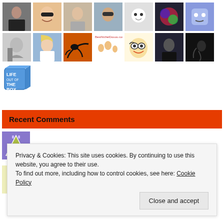[Figure (photo): Grid of profile avatar images, two rows of 7 avatars each, plus one avatar in a third row]
Recent Comments
pirate kings hack fo… on Weekly Photo Challenge : Three…
Chelsi on Weekly Photo Challenge : Three…
Privacy & Cookies: This site uses cookies. By continuing to use this website, you agree to their use.
To find out more, including how to control cookies, see here: Cookie Policy
Close and accept